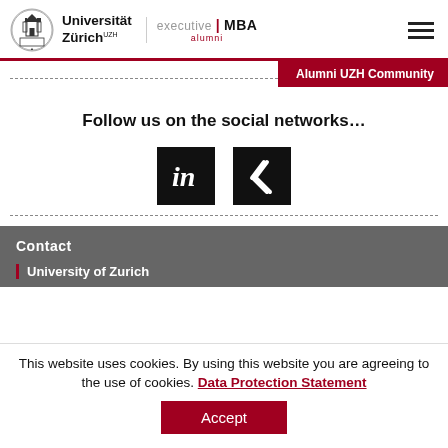Universität Zürich UZH executive | MBA alumni
Alumni UZH Community
Follow us on the social networks...
[Figure (logo): LinkedIn and XING social media icons (black square icons)]
Contact
University of Zurich
This website uses cookies. By using this website you are agreeing to the use of cookies. Data Protection Statement
Accept